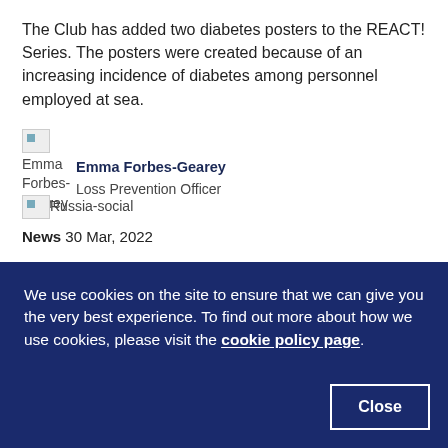The Club has added two diabetes posters to the REACT! Series. The posters were created because of an increasing incidence of diabetes among personnel employed at sea.
[Figure (photo): Broken image placeholder for author photo (Emma Forbes-Gearey)]
Emma Forbes-Gearey
Loss Prevention Officer
[Figure (photo): Broken image placeholder labeled Russia-social]
News 30 Mar, 2022
We use cookies on the site to ensure that we can give you the very best experience. To find out more about how we use cookies, please visit the cookie policy page.
Close